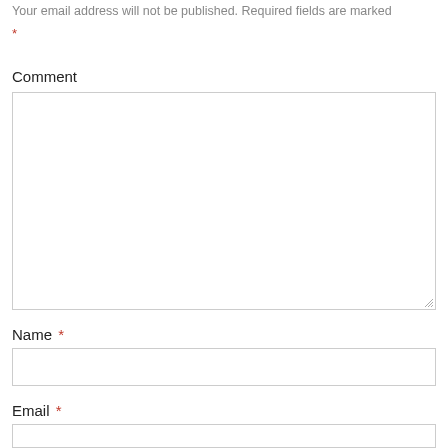Your email address will not be published. Required fields are marked
*
Comment
[Figure (other): Comment text area input box]
Name *
[Figure (other): Name input field]
Email *
[Figure (other): Email input field]